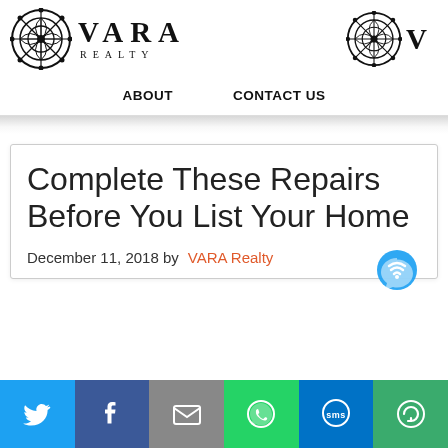[Figure (logo): VARA Realty logo with geometric circular medallion on left, company name VARA in large serif letters, REALTY in small spaced caps below]
[Figure (logo): Partial VARA Realty logo (right side crop) showing medallion and partial V letter]
ABOUT    CONTACT US
Complete These Repairs Before You List Your Home
December 11, 2018 by VARA Realty
[Figure (infographic): Social media share bar with Twitter, Facebook, Email, WhatsApp, SMS, and More buttons]